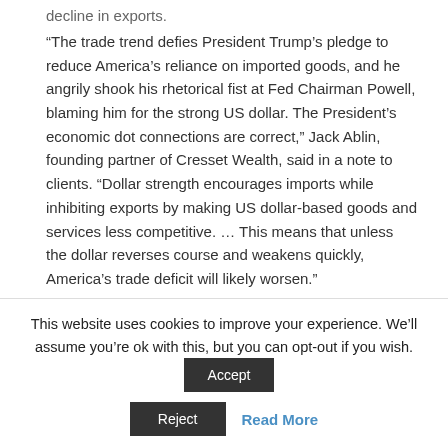decline in exports.
“The trade trend defies President Trump’s pledge to reduce America’s reliance on imported goods, and he angrily shook his rhetorical fist at Fed Chairman Powell, blaming him for the strong US dollar. The President’s economic dot connections are correct,” Jack Ablin, founding partner of Cresset Wealth, said in a note to clients. “Dollar strength encourages imports while inhibiting exports by making US dollar-based goods and services less competitive. … This means that unless the dollar reverses course and weakens quickly, America’s trade deficit will likely worsen.”
Source: CNBC
This website uses cookies to improve your experience. We’ll assume you’re ok with this, but you can opt-out if you wish.
Accept
Reject
Read More